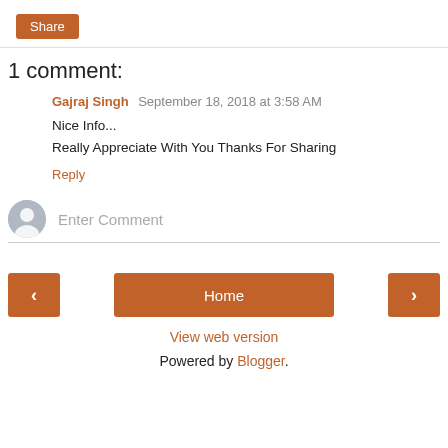Share
1 comment:
Gajraj Singh September 18, 2018 at 3:58 AM
Nice Info...
Really Appreciate With You Thanks For Sharing
Reply
Enter Comment
Home
View web version
Powered by Blogger.